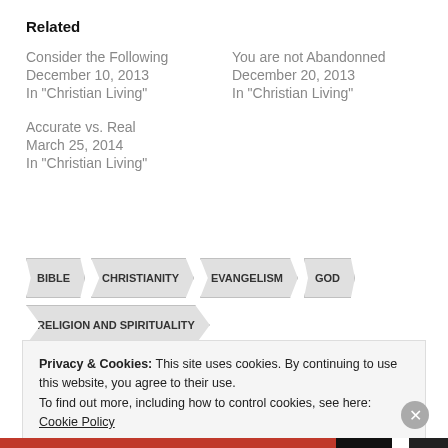Related
Consider the Following
December 10, 2013
In "Christian Living"
You are not Abandonned
December 20, 2013
In "Christian Living"
Accurate vs. Real
March 25, 2014
In "Christian Living"
BIBLE
CHRISTIANITY
EVANGELISM
GOD
RELIGION AND SPIRITUALITY
Privacy & Cookies: This site uses cookies. By continuing to use this website, you agree to their use.
To find out more, including how to control cookies, see here: Cookie Policy
Close and accept